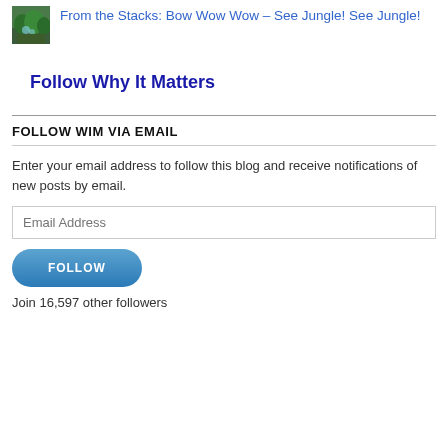[Figure (photo): Small thumbnail image of jungle/forest scene]
From the Stacks: Bow Wow Wow – See Jungle! See Jungle!
Follow Why It Matters
FOLLOW WIM VIA EMAIL
Enter your email address to follow this blog and receive notifications of new posts by email.
Email Address
FOLLOW
Join 16,597 other followers